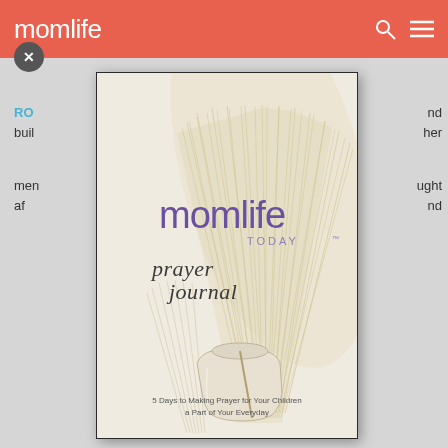momlife
RO... and buil... h her
men... ught af... nd
[Figure (photo): Book cover for 'momlife TODAY prayer journal' — 5 Days to Making Prayer for Your Children a Part of Your Everyday. Cover features dried palm leaves in a white vase on a cream/beige background. The title 'momlife TODAY' is in purple sans-serif text, and 'prayer journal' is in flowing script. Bottom text reads '5 Days to Making Prayer for Your Children a Part of Your Everyday'.]